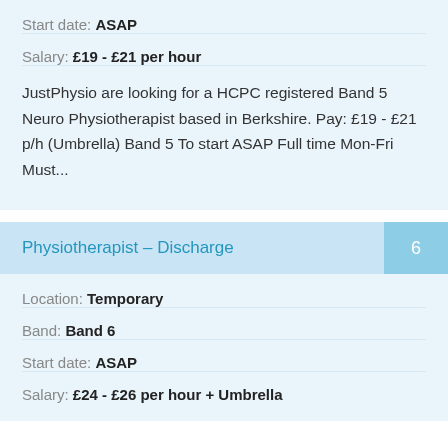Start date: ASAP
Salary: £19 - £21 per hour
JustPhysio are looking for a HCPC registered Band 5 Neuro Physiotherapist based in Berkshire. Pay: £19 - £21 p/h (Umbrella) Band 5 To start ASAP Full time Mon-Fri Must...
Physiotherapist – Discharge
Location: Temporary
Band: Band 6
Start date: ASAP
Salary: £24 - £26 per hour + Umbrella